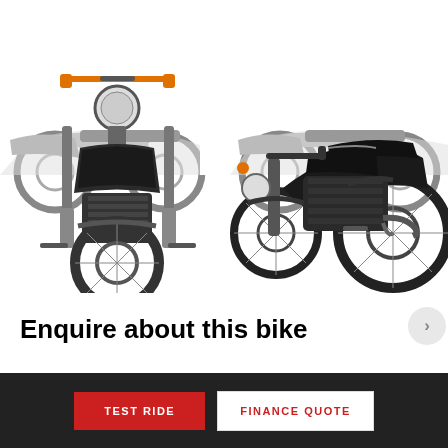[Figure (photo): Four motorcycle views: top row shows partial side-view images of a silver/chrome classic motorcycle (cropped at top), bottom row shows front view of a black motorcycle and a side view of a dark/black Royal Enfield style motorcycle]
Enquire about this bike
Full Name (required)
TEST RIDE
FINANCE QUOTE